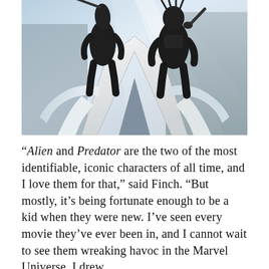[Figure (photo): A dramatic low-angle photograph showing two large dark alien/predator statues or figures standing atop a large white architectural structure resembling the Avengers 'A' logo symbol, against a bright silvery background suggesting a futuristic building or display.]
“Alien and Predator are the two of the most identifiable, iconic characters of all time, and I love them for that,” said Finch. “But mostly, it’s being fortunate enough to be a kid when they were new. I’ve seen every movie they’ve ever been in, and I cannot wait to see them wreaking havoc in the Marvel Universe. I drew